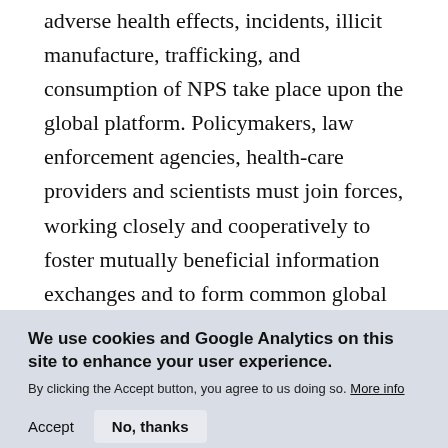adverse health effects, incidents, illicit manufacture, trafficking, and consumption of NPS take place upon the global platform. Policymakers, law enforcement agencies, health-care providers and scientists must join forces, working closely and cooperatively to foster mutually beneficial information exchanges and to form common global alliances and approaches.
We use cookies and Google Analytics on this site to enhance your user experience. By clicking the Accept button, you agree to us doing so. More info
Accept   No, thanks